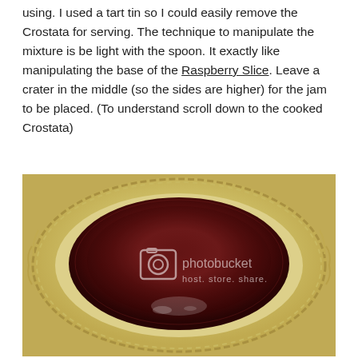using. I used a tart tin so I could easily remove the Crostata for serving. The technique to manipulate the mixture is be light with the spoon. It exactly like manipulating the base of the Raspberry Slice. Leave a crater in the middle (so the sides are higher) for the jam to be placed. (To understand scroll down to the cooked Crostata)
[Figure (photo): A tart tin viewed from above showing a pale yellow dough/batter spread around the fluted edges forming a crater shape, with a large dark red jam (raspberry or similar) filling placed in the center. A Photobucket watermark is visible in the middle of the image.]